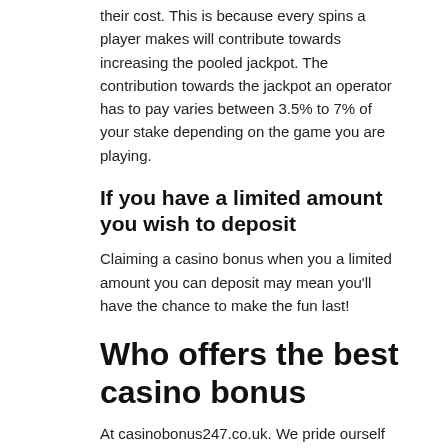their cost. This is because every spins a player makes will contribute towards increasing the pooled jackpot. The contribution towards the jackpot an operator has to pay varies between 3.5% to 7% of your stake depending on the game you are playing.
If you have a limited amount you wish to deposit
Claiming a casino bonus when you a limited amount you can deposit may mean you'll have the chance to make the fun last!
Who offers the best casino bonus
At casinobonus247.co.uk. We pride ourself on being the market expert and we're always on the lookout for the best bonuses available for you.